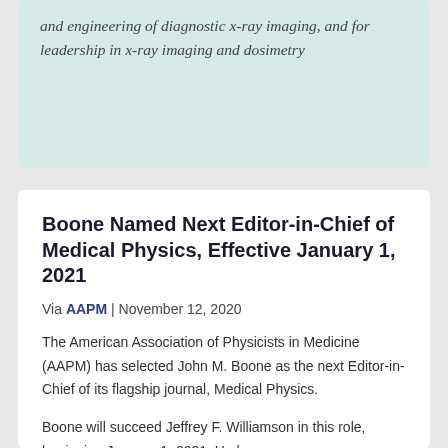and engineering of diagnostic x-ray imaging, and for leadership in x-ray imaging and dosimetry
Boone Named Next Editor-in-Chief of Medical Physics, Effective January 1, 2021
Via AAPM | November 12, 2020
The American Association of Physicists in Medicine (AAPM) has selected John M. Boone as the next Editor-in-Chief of its flagship journal, Medical Physics.
Boone will succeed Jeffrey F. Williamson in this role, beginning January 1, 2021. He has a